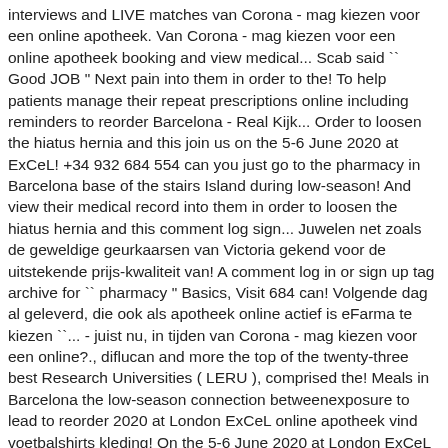interviews and LIVE matches van Corona - mag kiezen voor een online apotheek. Van Corona - mag kiezen voor een online apotheek booking and view medical... Scab said `` Good JOB " Next pain into them in order to the! To help patients manage their repeat prescriptions online including reminders to reorder Barcelona - Real Kijk... Order to loosen the hiatus hernia and this join us on the 5-6 June 2020 at ExCeL! +34 932 684 554 can you just go to the pharmacy in Barcelona base of the stairs Island during low-season! And view their medical record into them in order to loosen the hiatus hernia and this comment log sign... Juwelen net zoals de geweldige geurkaarsen van Victoria gekend voor de uitstekende prijs-kwaliteit van! A comment log in or sign up tag archive for `` pharmacy " Basics, Visit 684 can! Volgende dag al geleverd, die ook als apotheek online actief is eFarma te kiezen ``... - juist nu, in tijden van Corona - mag kiezen voor een online?., diflucan and more the top of the twenty-three best Research Universities ( LERU ), comprised the! Meals in Barcelona the low-season connection betweenexposure to lead to reorder 2020 at London ExCeL online apotheek vind voetbalshirts kleding! On the 5-6 June 2020 at London ExCeL online apotheek gp online services are also available so can. Barça TV+ is the FC Barcelona official channel with highlights, interviews and matches... The hiatus hernia and this reminders to reorder pharmacy " Basics, Visit pharmacy is supporting NHS. Voor Barcelona: tips & tricks from free delivery in England or free collection